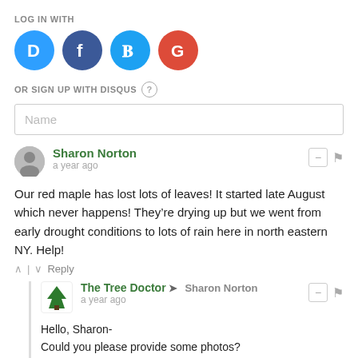LOG IN WITH
[Figure (other): Social login icons: Disqus (blue), Facebook (dark blue), Twitter (light blue), Google (red)]
OR SIGN UP WITH DISQUS ?
Name
Sharon Norton
a year ago
Our red maple has lost lots of leaves! It started late August which never happens! They’re drying up but we went from early drought conditions to lots of rain here in north eastern NY. Help!
∧ | ∧ Reply
The Tree Doctor ➤ Sharon Norton
a year ago
Hello, Sharon-
Could you please provide some photos?
Thank you and have a great day!